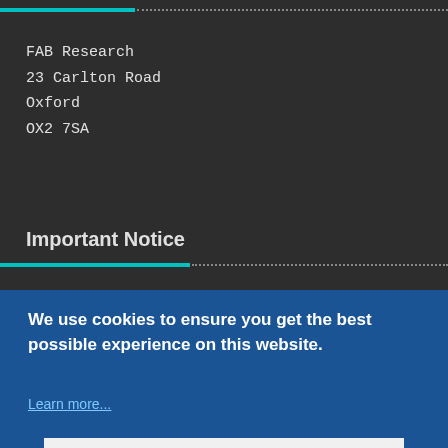FAB Research
23 Carlton Road
Oxford
OX2 7SA
Important Notice
Medical opinion and guidance should always be sought for any symptoms as this might possibly affect known or individual circumstances. Any content provided by FAB Research via any URL does not in any way constitute advice on the assessment of a medical, medical indication or proposed or underway...
We use cookies to ensure you get the best possible experience on this website.
Learn more...
Accept